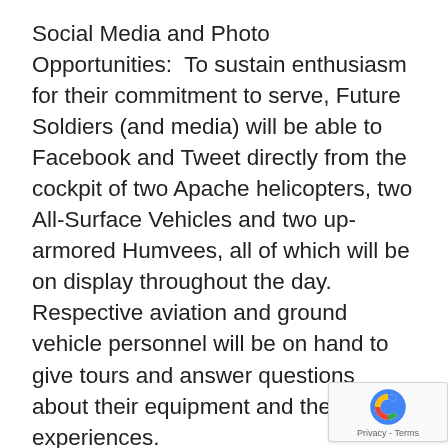Social Media and Photo Opportunities:  To sustain enthusiasm for their commitment to serve, Future Soldiers (and media) will be able to Facebook and Tweet directly from the cockpit of two Apache helicopters, two All-Surface Vehicles and two up-armored Humvees, all of which will be on display throughout the day.  Respective aviation and ground vehicle personnel will be on hand to give tours and answer questions about their equipment and their Army experiences.
Army Community/Lifestyle Tour:  Finally, parents and media are also welcome to hop aboard an Army-chartered bus for a two-hour tour of Fort Hamilton.
The decision to join the Army is one of the most imp… decisions America's sons and daughters can make, … parents should know about the benefits to which their